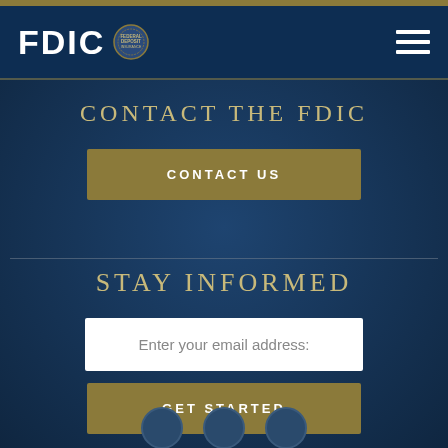FDIC
CONTACT THE FDIC
CONTACT US
STAY INFORMED
Enter your email address:
GET STARTED